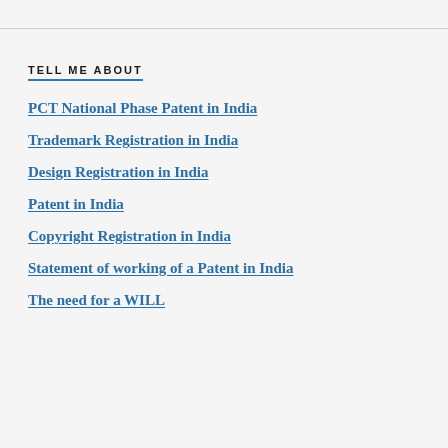TELL ME ABOUT
PCT National Phase Patent in India
Trademark Registration in India
Design Registration in India
Patent in India
Copyright Registration in India
Statement of working of a Patent in India
The need for a WILL